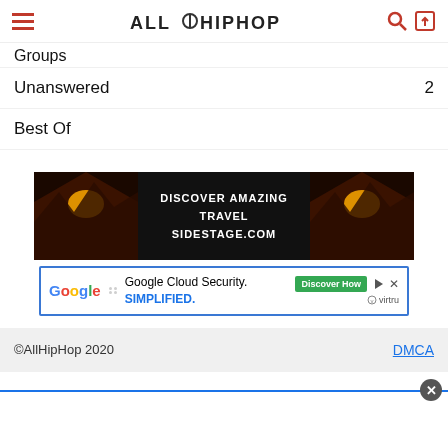AllHipHop
Groups
Unanswered  2
Best Of
[Figure (infographic): Travel advertisement banner showing 'DISCOVER AMAZING TRAVEL SIDESTAGE.COM' with sunset/landscape images on left and right]
[Figure (infographic): Google Cloud Security advertisement with Google logo, text 'Google Cloud Security. SIMPLIFIED.' and green 'Discover How' button]
©AllHipHop 2020   DMCA